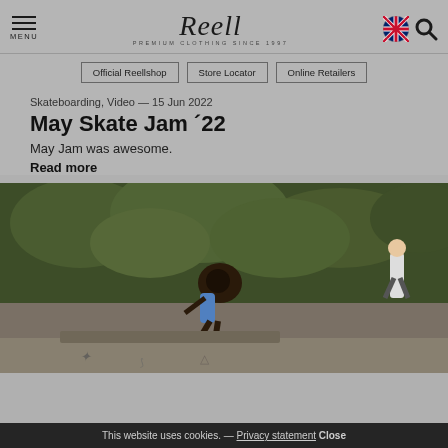MENU | Reell — Premium Clothing Since 1997 | [UK flag] [Search]
Official Reellshop
Store Locator
Online Retailers
Skateboarding, Video — 15 Jun 2022
May Skate Jam ´22
May Jam was awesome.
Read more
[Figure (photo): Outdoor skate jam photo showing skaters at a skatepark with green hedges in background]
This website uses cookies. — Privacy statement Close